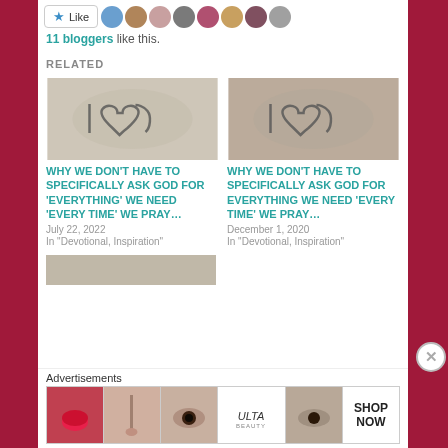[Figure (screenshot): Like button and blogger avatars at top]
11 bloggers like this.
RELATED
[Figure (photo): Heart drawn in flour - related article image 1]
WHY WE DON’T HAVE TO SPECIFICALLY ASK GOD FOR ‘EVERYTHING’ WE NEED ‘EVERY TIME’ WE PRAY…
July 22, 2022
In “Devotional, Inspiration”
[Figure (photo): Heart drawn in flour - related article image 2]
WHY WE DON’T HAVE TO SPECIFICALLY ASK GOD FOR EVERYTHING WE NEED ‘EVERY TIME’ WE PRAY…
December 1, 2020
In “Devotional, Inspiration”
[Figure (photo): Partial third related article image (cropped at bottom)]
Advertisements
[Figure (photo): Ulta Beauty advertisement banner showing makeup products and SHOP NOW text]